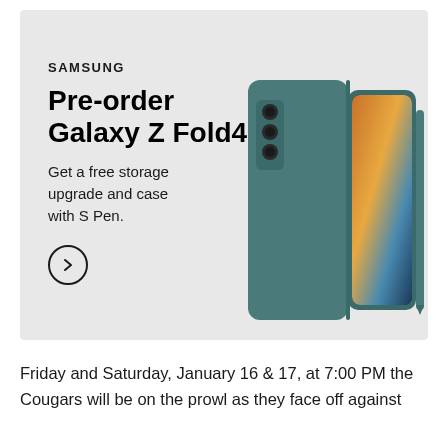[Figure (illustration): Samsung advertisement for Galaxy Z Fold4 pre-order. Light gray background with Samsung logo, headline 'Pre-order Galaxy Z Fold4', subtext 'Get a free storage upgrade and case with S Pen.', a circular arrow button, and an image of a teal/gray Galaxy Z Fold4 folding phone with S Pen.]
Friday and Saturday, January 16 & 17, at 7:00 PM the Cougars will be on the prowl as they face off against